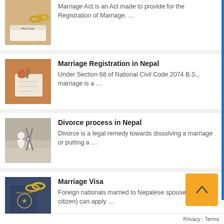[Figure (photo): Marriage certificate with gold rings on top]
Marriage Act is an Act made to provide for the Registration of Marriage. …
[Figure (photo): Person writing on paper with henna-decorated hand]
Marriage Registration in Nepal
Under Section 68 of National Civil Code 2074 B.S., marriage is a …
[Figure (photo): Scissors cutting paper family figures, divorce concept]
Divorce process in Nepal
Divorce is a legal remedy towards dissolving a marriage or putting a …
[Figure (photo): US Passport with gold ring on top]
Marriage Visa
Foreign nationals married to Nepalese spouse (Nepalese citizen) can apply …
[Figure (photo): Partial image of another marriage registration topic]
Marriage Registration Rule 2030 (1971 AD)
Privacy · Terms